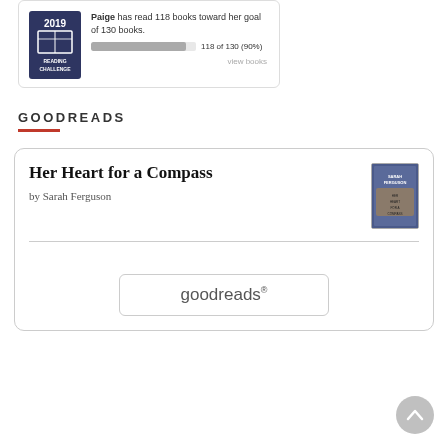[Figure (infographic): 2019 Reading Challenge badge logo — dark navy background with open book and text '2019 READING CHALLENGE']
Paige has read 118 books toward her goal of 130 books. 118 of 130 (90%)
view books
GOODREADS
Her Heart for a Compass
by Sarah Ferguson
[Figure (photo): Book cover of 'Her Heart for a Compass' by Sarah Ferguson — shows a woman in period costume against a moody background]
[Figure (logo): goodreads logo inside a rounded rectangle button]
[Figure (other): Scroll-to-top circular grey button with upward arrow]